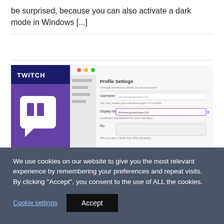be surprised, because you can also activate a dark mode in Windows [...]
[Figure (screenshot): Twitch branding image on the left (dark blue/purple background with white Twitch logo and 'TWITCH' label) next to a screenshot of Twitch Profile Settings page showing Username, Display Name, and Bio fields.]
We use cookies on our website to give you the most relevant experience by remembering your preferences and repeat visits. By clicking “Accept”, you consent to the use of ALL the cookies.
Cookie settings
Accept